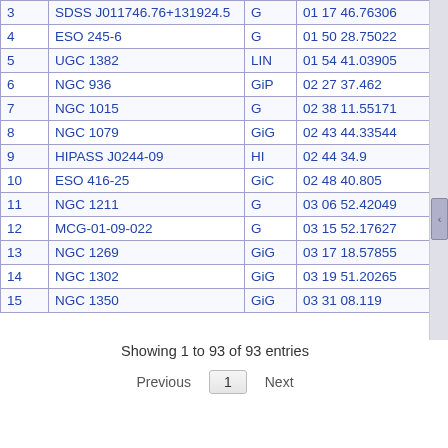| # | Name | Type | RA |
| --- | --- | --- | --- |
| 3 | SDSS J011746.76+131924.5 | G | 01 17 46.76306 |
| 4 | ESO 245-6 | G | 01 50 28.75022 |
| 5 | UGC 1382 | LIN | 01 54 41.03905 |
| 6 | NGC 936 | GiP | 02 27 37.462 |
| 7 | NGC 1015 | G | 02 38 11.55171 |
| 8 | NGC 1079 | GiG | 02 43 44.33544 |
| 9 | HIPASS J0244-09 | HI | 02 44 34.9 |
| 10 | ESO 416-25 | GiC | 02 48 40.805 |
| 11 | NGC 1211 | G | 03 06 52.42049 |
| 12 | MCG-01-09-022 | G | 03 15 52.17627 |
| 13 | NGC 1269 | GiG | 03 17 18.57855 |
| 14 | NGC 1302 | GiG | 03 19 51.20265 |
| 15 | NGC 1350 | GiG | 03 31 08.119 |
Showing 1 to 93 of 93 entries
Previous 1 Next
plot this list of objects